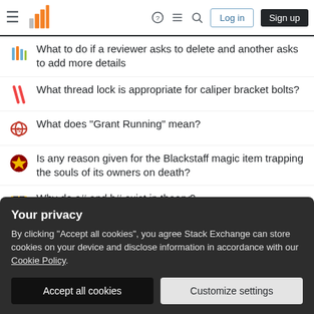Stack Exchange navigation bar with hamburger menu, logo, help, chat, search icons, Log in and Sign up buttons
What to do if a reviewer asks to delete and another asks to add more details
What thread lock is appropriate for caliper bracket bolts?
What does "Grant Running" mean?
Is any reason given for the Blackstaff magic item trapping the souls of its owners on death?
Why do e# and b# exist in theory?
An impossible quantum adder claimed by a journal article?
How do I get my record name instead of RecordID?
Matrix math equation not splitting over two lines
Your privacy
By clicking "Accept all cookies", you agree Stack Exchange can store cookies on your device and disclose information in accordance with our Cookie Policy.
[Accept all cookies] [Customize settings]
Is there a God of the Sea other than Umberlee in the Forgotten Realms?